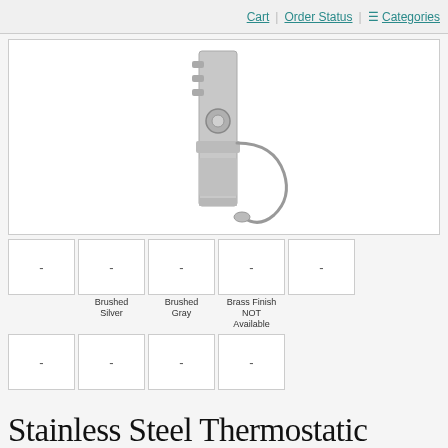Cart | Order Status | Categories
[Figure (photo): Stainless steel thermostatic shower panel with multiple body jets, hand shower with hose, and waterfall spout. Panel is tall and narrow with chrome/brushed finish.]
[Figure (photo): Row of 5 small product thumbnail boxes, each showing a dash placeholder. Labels below: Brushed Silver, Brushed Gray, Brass Finish NOT Available]
[Figure (photo): Row of 4 small product thumbnail boxes, each showing a dash placeholder.]
Stainless Steel Thermostatic